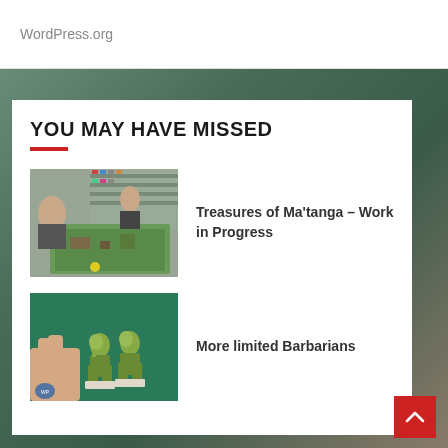WordPress.org
YOU MAY HAVE MISSED
[Figure (photo): Photo of people at a gaming table with miniatures and terrain boards in a shop setting]
Treasures of Ma'tanga – Work in Progress
[Figure (photo): Close-up photo of small green goblin/orc miniature figures being held against a green cutting mat background]
More limited Barbarians